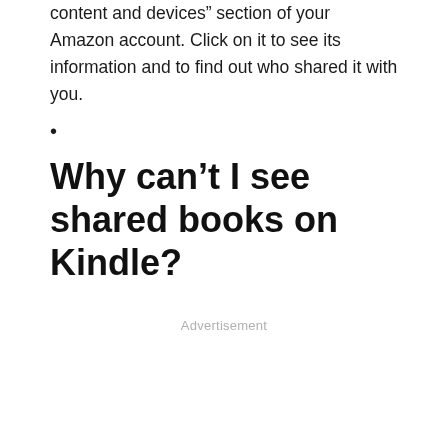content and devices” section of your Amazon account. Click on it to see its information and to find out who shared it with you.
•
Why can’t I see shared books on Kindle?
Advertisement